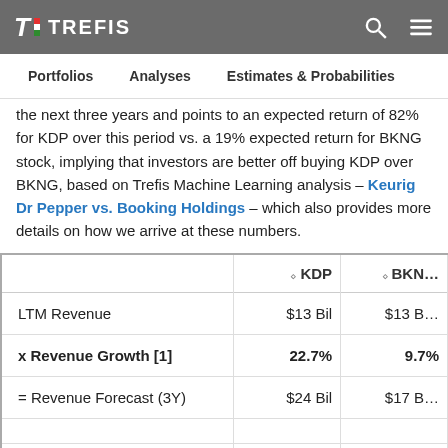TREFIS
Portfolios   Analyses   Estimates & Probabilities
the next three years and points to an expected return of 82% for KDP over this period vs. a 19% expected return for BKNG stock, implying that investors are better off buying KDP over BKNG, based on Trefis Machine Learning analysis – Keurig Dr Pepper vs. Booking Holdings – which also provides more details on how we arrive at these numbers.
|  | KDP | BKN… |
| --- | --- | --- |
| LTM Revenue | $13 Bil | $13 B… |
| x Revenue Growth [1] | 22.7% | 9.7% |
| = Revenue Forecast (3Y) | $24 Bil | $17 B… |
| x P/S [2] | 3.8 | 6.7 |